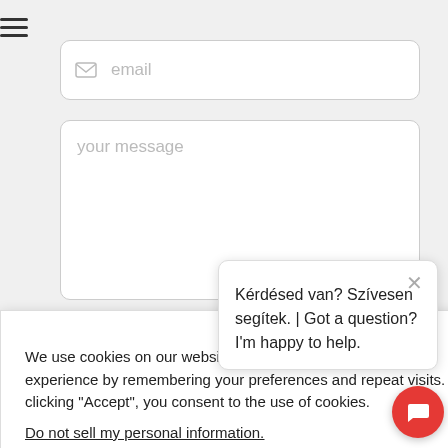[Figure (screenshot): Email input field with envelope icon and placeholder text 'email']
[Figure (screenshot): Large text area input with placeholder text 'your message' and character count '0 of 350']
We use cookies on our website to give you the most relevant experience by remembering your preferences and repeat visits. By clicking "Accept", you consent to the use of cookies.
Do not sell my personal information.
Cookie Settings
Accept
Kérdésed van? Szívesen segítek. | Got a question? I'm happy to help.
SHIFTER SEMINARS | WORKSHOPS | SESSIONS